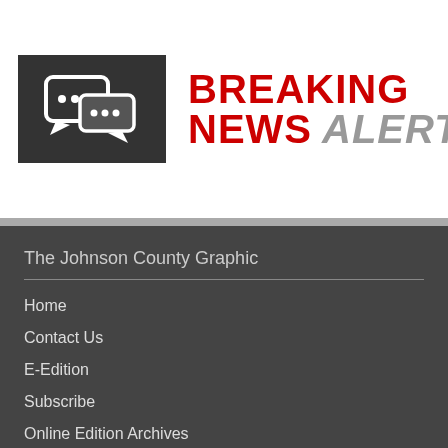[Figure (logo): Breaking News Alerts logo with dark speech bubble icon on the left and red/gray text on the right reading BREAKING NEWS ALERTS]
The Johnson County Graphic
Home
Contact Us
E-Edition
Subscribe
Online Edition Archives